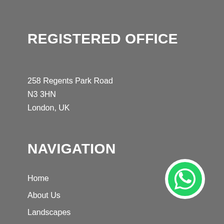REGISTERED OFFICE
258 Regents Park Road
N3 3HN
London, UK
NAVIGATION
Home
About Us
Landscapes
Contact
[Figure (logo): WhatsApp logo — green circle with white phone handset icon]